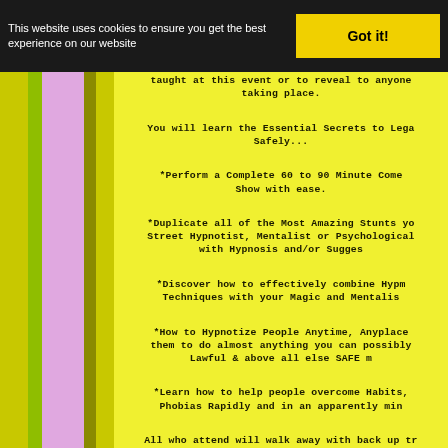This website uses cookies to ensure you get the best experience on our website  Got it!
taught at this event or to reveal to anyone taking place.
You will learn the Essential Secrets to Lega Safely...
*Perform a Complete 60 to 90 Minute Come Show with ease.
*Duplicate all of the Most Amazing Stunts yo Street Hypnotist, Mentalist or Psychological with Hypnosis and/or Sugges
*Discover how to effectively combine Hypm Techniques with your Magic and Mentalis
*How to Hypnotize People Anytime, Anplaco them to do almost anything you can possibly Lawful & above all else SAFE m
*Learn how to help people overcome Habits, Phobias Rapidly and in an apparently min
All who attend will walk away with back up tr and manuals in digital download format wor